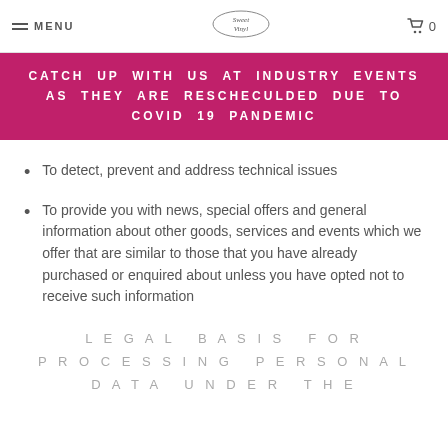MENU | SweetVinyl | 0
CATCH UP WITH US AT INDUSTRY EVENTS AS THEY ARE RESCHECULDED DUE TO COVID 19 PANDEMIC
To detect, prevent and address technical issues
To provide you with news, special offers and general information about other goods, services and events which we offer that are similar to those that you have already purchased or enquired about unless you have opted not to receive such information
LEGAL BASIS FOR PROCESSING PERSONAL DATA UNDER THE